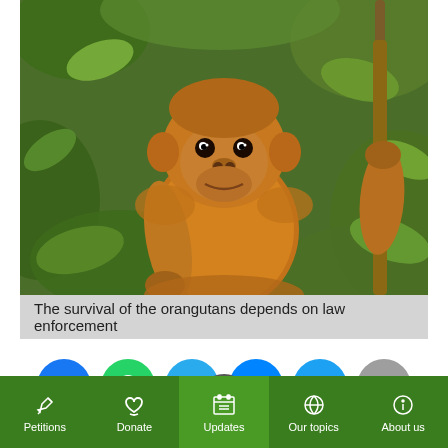[Figure (photo): Baby orangutan holding a stick in a jungle/forest setting with green leaves in the background]
The survival of the orangutans depends on law enforcement
[Figure (other): Social media sharing buttons: Facebook, WhatsApp, Telegram, Messenger, Twitter, Email, and a QR code button]
Petitions | Donate | Updates | Our topics | About us